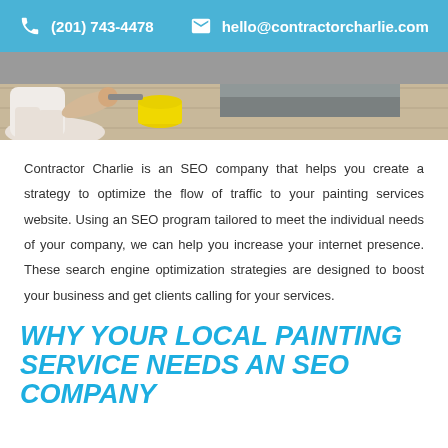(201) 743-4478  hello@contractorcharlie.com
[Figure (photo): Photo of a painter crouching near a yellow paint can on a wooden floor, with painted stripes visible]
Contractor Charlie is an SEO company that helps you create a strategy to optimize the flow of traffic to your painting services website. Using an SEO program tailored to meet the individual needs of your company, we can help you increase your internet presence. These search engine optimization strategies are designed to boost your business and get clients calling for your services.
WHY YOUR LOCAL PAINTING SERVICE NEEDS AN SEO COMPANY